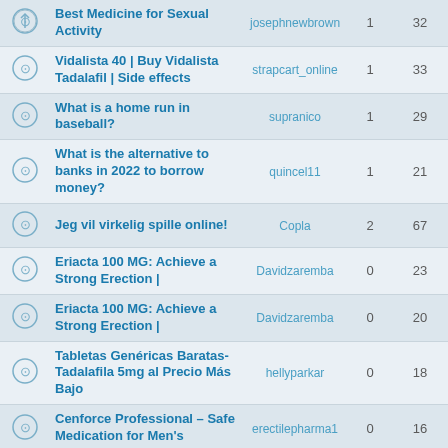|  | Topic | Author | Replies | Views | Last Post |
| --- | --- | --- | --- | --- | --- |
| [icon] | Best Medicine for Sexual Activity | josephnewbrown | 1 | 32 | shine... |
| [icon] | Vidalista 40 | Buy Vidalista Tadalafil | Side effects | strapcart_online | 1 | 33 | tis 16 au lorrag... |
| [icon] | What is a home run in baseball? | supranico | 1 | 29 | sön 14 a quin... |
| [icon] | What is the alternative to banks in 2022 to borrow money? | quincel11 | 1 | 21 | tor 11 au sup... |
| [icon] | Jeg vil virkelig spille online! | Copla | 2 | 67 | mån 08 a Kas... |
| [icon] | Eriacta 100 MG: Achieve a Strong Erection | | Davidzaremba | 0 | 23 | mån 08 a Davidz... |
| [icon] | Eriacta 100 MG: Achieve a Strong Erection | | Davidzaremba | 0 | 20 | mån 08 a Davidz... |
| [icon] | Tabletas Genéricas Baratas-Tadalafila 5mg al Precio Más Bajo | hellyparkar | 0 | 18 | mån 08 a helly... |
| [icon] | Cenforce Professional – Safe Medication for Men's | erectilepharma1 | 0 | 16 | lör 06 au erectile... |